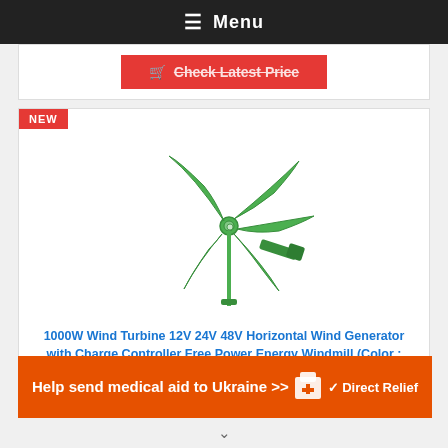≡ Menu
Check Latest Price
[Figure (photo): Green 5-blade horizontal wind turbine generator with mount bracket, shown on white background. Tagged with NEW badge in red.]
1000W Wind Turbine 12V 24V 48V Horizontal Wind Generator with Charge Controller Free Power Energy Windmill (Color : Green, Size : 24v)
Help send medical aid to Ukraine >>
[Figure (logo): Direct Relief logo — white gift box icon with cross, text DirectRelief]